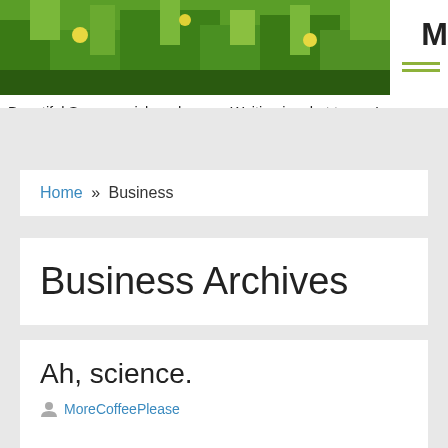[Figure (photo): Green grass and wildflowers banner image for website header]
Beautiful Soup, so rich and green, Waiting in a hot tureen!
Home » Business
Business Archives
Ah, science.
MoreCoffeePlease